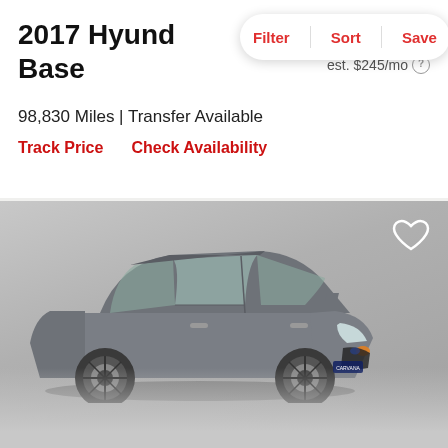2017 Hyund… Base
$16,998
est. $245/mo
98,830 Miles | Transfer Available
Track Price    Check Availability
[Figure (photo): Gray 2017 Hyundai hatchback photographed from front-right angle in a showroom with circular platform, silver/gray color, prominent front grille and headlights visible]